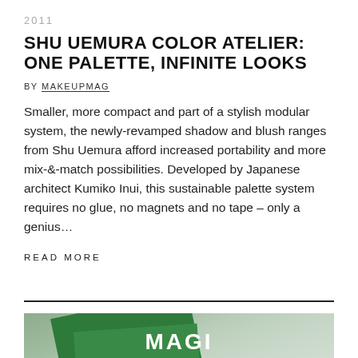2011
SHU UEMURA COLOR ATELIER: ONE PALETTE, INFINITE LOOKS
BY MAKEUPMAG
Smaller, more compact and part of a stylish modular system, the newly-revamped shadow and blush ranges from Shu Uemura afford increased portability and more mix-&-match possibilities. Developed by Japanese architect Kumiko Inui, this sustainable palette system requires no glue, no magnets and no tape – only a genius…
READ MORE
[Figure (photo): Photo showing green product packaging with 'MAGI' text visible at bottom, set against a light grey-green background]